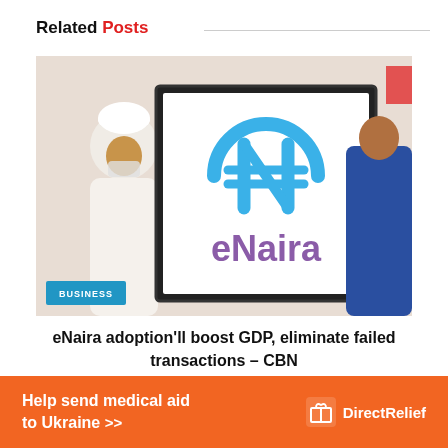Related Posts
[Figure (photo): Photo showing the eNaira logo on a board being displayed at an event, with people in traditional and formal attire. A blue 'BUSINESS' badge is overlaid at the bottom left.]
eNaira adoption'll boost GDP, eliminate failed transactions – CBN
[Figure (infographic): Orange advertisement banner: 'Help send medical aid to Ukraine >>' with Direct Relief logo on the right.]